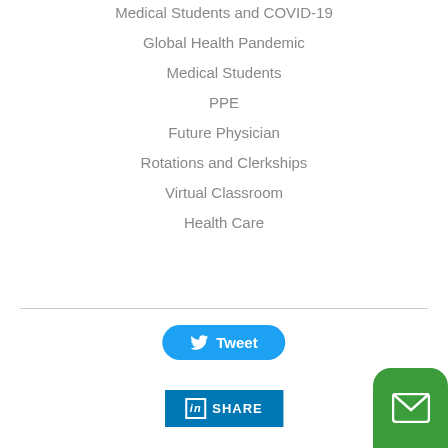Medical Students and COVID-19
Global Health Pandemic
Medical Students
PPE
Future Physician
Rotations and Clerkships
Virtual Classroom
Health Care
[Figure (other): Tweet button - blue rounded pill button with Twitter bird icon and text 'Tweet']
[Figure (other): LinkedIn Share button - blue rectangular button with 'in' logo and text 'SHARE']
[Figure (other): Green email/envelope button in bottom right corner]